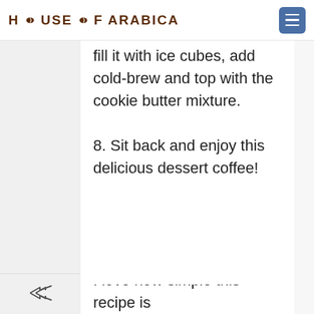HOUSE OF ARABICA
fill it with ice cubes, add cold-brew and top with the cookie butter mixture.
8. Sit back and enjoy this delicious dessert coffee!
I love how simple this recipe is